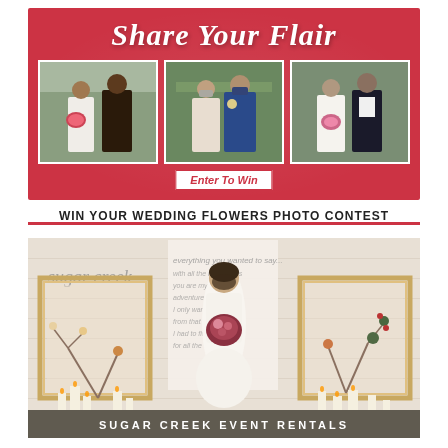[Figure (infographic): Red banner with 'Share Your Flair' script title, three wedding couple photos (bride and groom pairs), and 'Enter To Win' button for a wedding flowers photo contest]
WIN YOUR WEDDING FLOWERS PHOTO CONTEST
[Figure (photo): Bride in white gown standing between gold picture frames with calligraphy writing, floral arrangements and white candles on the floor, Sugar Creek Event Rentals branding at the bottom]